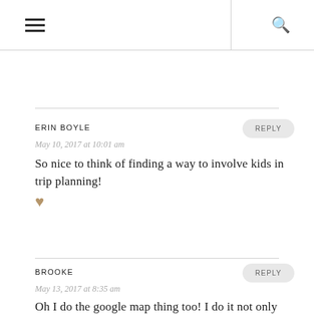≡  [search icon]
ERIN BOYLE
May 10, 2017 at 10:01 am
So nice to think of finding a way to involve kids in trip planning! ♥
BROOKE
May 13, 2017 at 8:35 am
Oh I do the google map thing too! I do it not only for trip planning, but for everyday life. Inside Google Maps App...